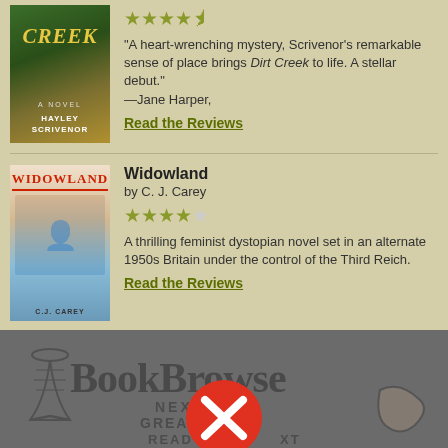[Figure (illustration): Book cover for Dirt Creek by Hayley Scrivenor, showing stylized title text in yellow on a natural/forest background]
"A heart-wrenching mystery, Scrivenor's remarkable sense of place brings Dirt Creek to life. A stellar debut." —Jane Harper,
Read the Reviews
[Figure (illustration): Book cover for Widowland by C. J. Carey showing a woman in sunglasses with a city backdrop]
Widowland
by C. J. Carey
A thrilling feminist dystopian novel set in an alternate 1950s Britain under the control of the Third Reich.
Read the Reviews
[Figure (logo): BookBrowse logo with text NEXT GREAT READ and an X close button overlay in red circle]